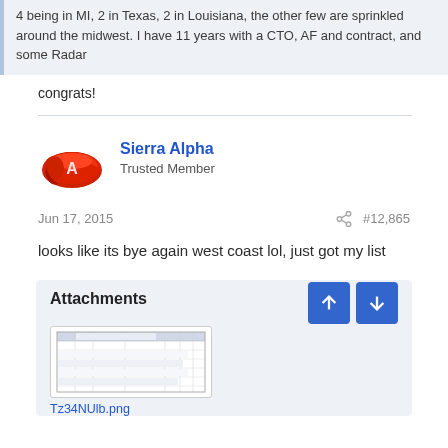4 being in MI, 2 in Texas, 2 in Louisiana, the other few are sprinkled around the midwest. I have 11 years with a CTO, AF and contract, and some Radar
congrats!
Sierra Alpha
Trusted Member
Jun 17, 2015  #12,865
looks like its bye again west coast lol, just got my list
Attachments
[Figure (screenshot): Thumbnail of an attachment image showing a table with rows of data, labeled Tz34NUlb.png]